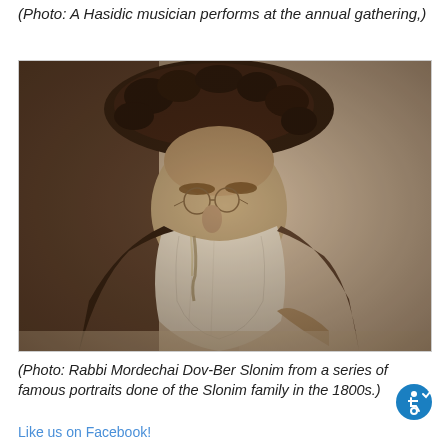(Photo: A Hasidic musician performs at the annual gathering,)
[Figure (photo): Sepia-toned portrait of an elderly bearded man wearing a large fur hat (streimel), seated at a table, wearing a dark coat with a tallit visible. Historical photograph from the 1800s.]
(Photo: Rabbi Mordechai Dov-Ber Slonim from a series of famous portraits done of the Slonim family in the 1800s.)
Like us on Facebook!